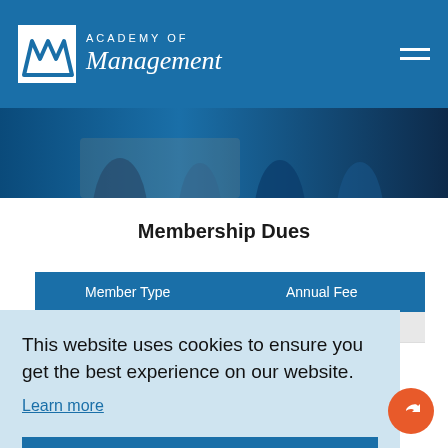Academy of Management
[Figure (photo): Hero background image showing silhouettes of business people in a blue-toned overlay]
Membership Dues
| Member Type | Annual Fee |
| --- | --- |
| Emeritus | $99 USD |
This website uses cookies to ensure you get the best experience on our website.
Learn more
Got it!